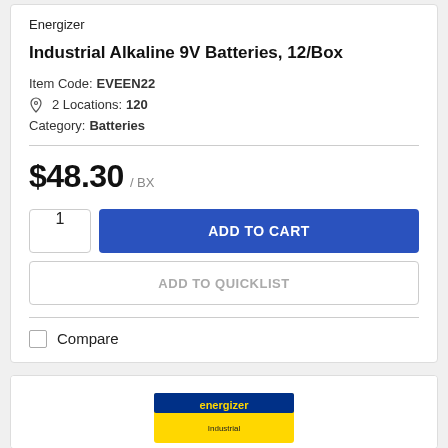Energizer
Industrial Alkaline 9V Batteries, 12/Box
Item Code: EVEEN22
2 Locations: 120
Category: Batteries
$48.30 / BX
1
ADD TO CART
ADD TO QUICKLIST
Compare
[Figure (photo): Product image of Energizer batteries box, partially visible at bottom of page]